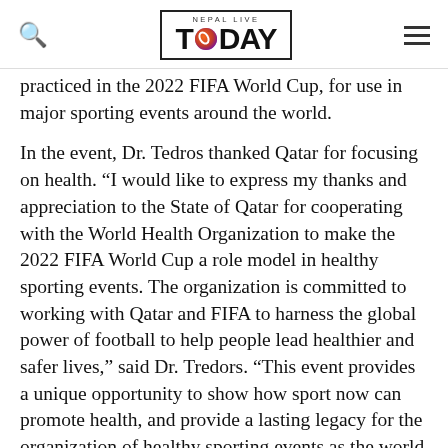Nepal Live TODAY
practiced in the 2022 FIFA World Cup, for use in major sporting events around the world.

In the event, Dr. Tedros thanked Qatar for focusing on health. “I would like to express my thanks and appreciation to the State of Qatar for cooperating with the World Health Organization to make the 2022 FIFA World Cup a role model in healthy sporting events. The organization is committed to working with Qatar and FIFA to harness the global power of football to help people lead healthier and safer lives,” said Dr. Tredors. “This event provides a unique opportunity to show how sport now can promote health, and provide a lasting legacy for the organization of healthy sporting events as the world